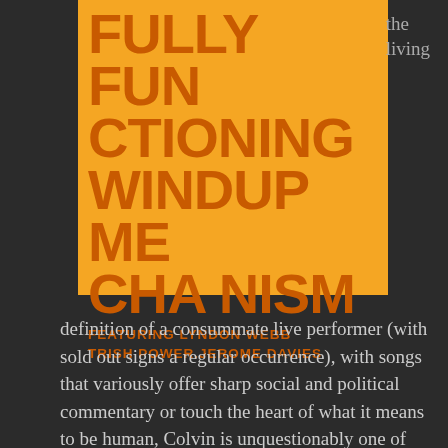[Figure (illustration): Album cover with orange background featuring large bold text 'FULLY FUNCTIONING WINDUP MECHANISM' in dark orange, with subtitle 'FEATURING LYNDON WEBB TRISH POWER.JEROME DAVIES']
the living
definition of a consummate live performer (with sold out signs a regular occurrence), with songs that variously offer sharp social and political commentary or touch the heart of what it means to be human, Colvin is unquestionably one of this country's finest – if somewhat under-recognised – songwriters. And, again teamed with his excellent long-standing backing musicians, upright bassist